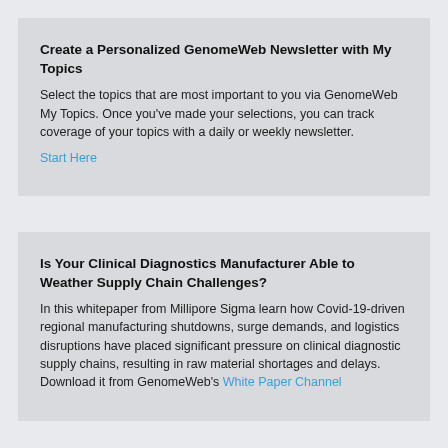Create a Personalized GenomeWeb Newsletter with My Topics
Select the topics that are most important to you via GenomeWeb My Topics. Once you've made your selections, you can track coverage of your topics with a daily or weekly newsletter.
Start Here
Is Your Clinical Diagnostics Manufacturer Able to Weather Supply Chain Challenges?
In this whitepaper from Millipore Sigma learn how Covid-19-driven regional manufacturing shutdowns, surge demands, and logistics disruptions have placed significant pressure on clinical diagnostic supply chains, resulting in raw material shortages and delays. Download it from GenomeWeb's White Paper Channel